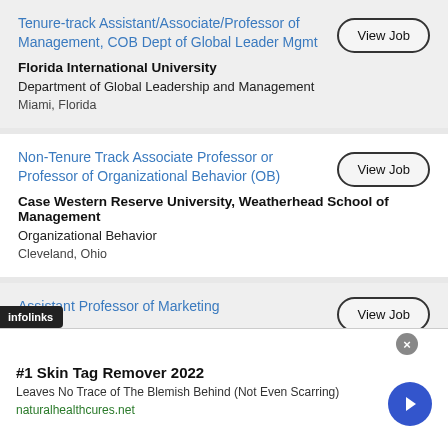Tenure-track Assistant/Associate/Professor of Management, COB Dept of Global Leader Mgmt
Florida International University
Department of Global Leadership and Management
Miami, Florida
Non-Tenure Track Associate Professor or Professor of Organizational Behavior (OB)
Case Western Reserve University, Weatherhead School of Management
Organizational Behavior
Cleveland, Ohio
Assistant Professor of Marketing
[Figure (screenshot): Advertisement banner: #1 Skin Tag Remover 2022. Leaves No Trace of The Blemish Behind (Not Even Scarring). naturalhealthcures.net]